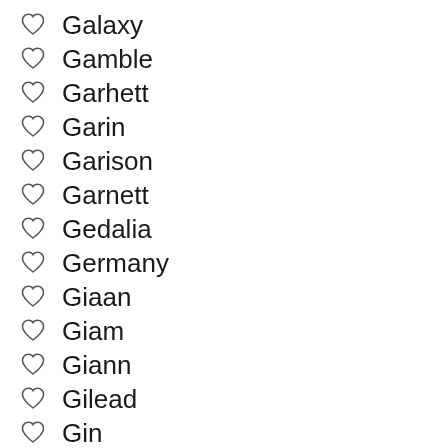Galaxy
Gamble
Garhett
Garin
Garison
Garnett
Gedalia
Germany
Giaan
Giam
Giann
Gilead
Gin
Giomar
Gionnis
God